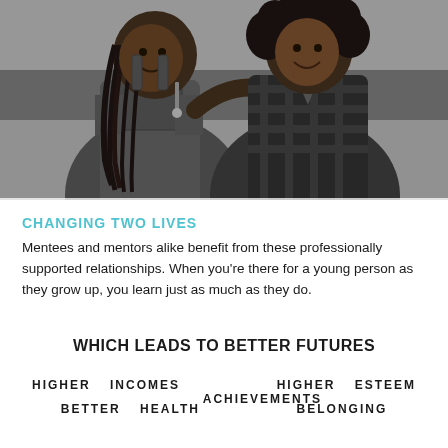[Figure (photo): Black and white photograph of two young women smiling together, one wearing denim overalls with braided hair, the other in a plaid flannel shirt with curly hair.]
CHANGING TWO LIVES
Mentees and mentors alike benefit from these professionally supported relationships. When you're there for a young person as they grow up, you learn just as much as they do.
WHICH LEADS TO BETTER FUTURES
HIGHER INCOMES   HIGHER ESTEEM   ACHIEVEMENTS
BETTER HEALTH   BELONGING